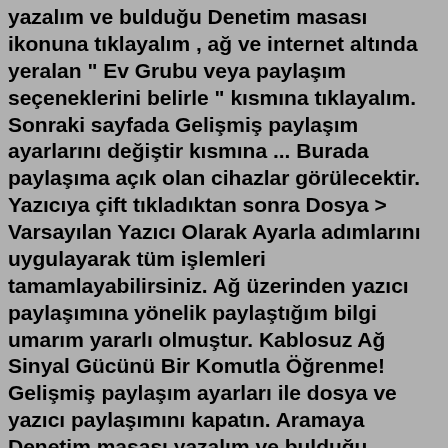yazalım ve bulduğu Denetim masası ikonuna tıklayalım , ağ ve internet altında yeralan " Ev Grubu veya paylaşım seçeneklerini belirle " kısmına tıklayalım. Sonraki sayfada Gelişmiş paylaşım ayarlarını değiştir kısmına ... Burada paylaşıma açık olan cihazlar görülecektir. Yazıcıya çift tıkladıktan sonra Dosya > Varsayılan Yazıcı Olarak Ayarla adımlarını uygulayarak tüm işlemleri tamamlayabilirsiniz. Ağ üzerinden yazıcı paylaşımına yönelik paylaştığım bilgi umarım yararlı olmuştur. Kablosuz Ağ Sinyal Gücünü Bir Komutla Öğrenme! Gelişmiş paylaşım ayarları ile dosya ve yazıcı paylaşımını kapatın. Aramaya Denetim masası yazalım ve bulduğu Denetim masası ikonuna tıklayalım , ağ ve internet altında yeralan " Ev Grubu veya paylaşım seçeneklerini belirle " kısmına tıklayalım. Sonraki sayfada Gelişmiş paylaşım ayarlarını değiştir kısmına ... Jun 22, 2017 · Windows 10 Yazıcı (Printer) Paylaşımı (Resimli Anlatım) Yazar. Tekno Destek. -. 22 Haziran 2017. 0. Bu makalemizde, bir bilgisayara bağlı ve tanımlı yazıcının, yerel ağdaki